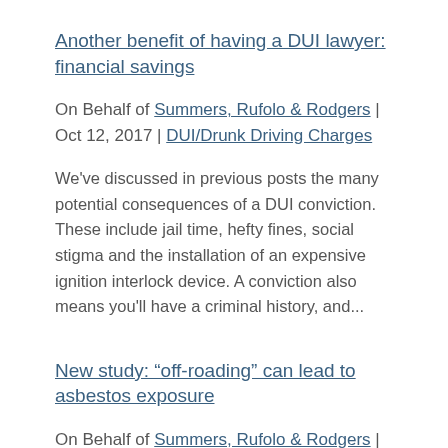Another benefit of having a DUI lawyer: financial savings
On Behalf of Summers, Rufolo & Rodgers | Oct 12, 2017 | DUI/Drunk Driving Charges
We've discussed in previous posts the many potential consequences of a DUI conviction. These include jail time, hefty fines, social stigma and the installation of an expensive ignition interlock device. A conviction also means you'll have a criminal history, and...
New study: “off-roading” can lead to asbestos exposure
On Behalf of Summers, Rufolo & Rodgers | Oct